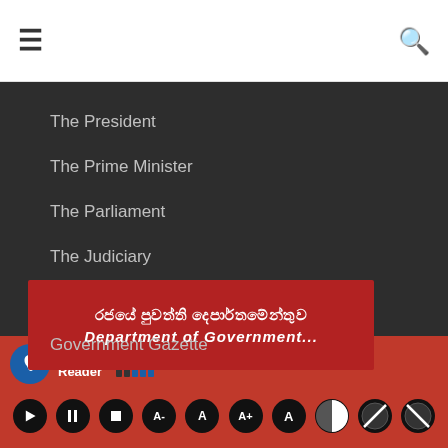[Figure (screenshot): Navigation bar with hamburger menu icon on left and search icon on right, white background]
The President
The Prime Minister
The Parliament
The Judiciary
Department of Government Informtion
Government Gazette
[Figure (screenshot): Red banner with Sinhala text reading රජයේ පුවත්ති දෙපාර්තමේන්තුව and partial italic text below]
[Figure (screenshot): Screen Reader accessibility toolbar with blue hearing icon, Screen Reader label, signal bars, and media/accessibility control buttons on red background]